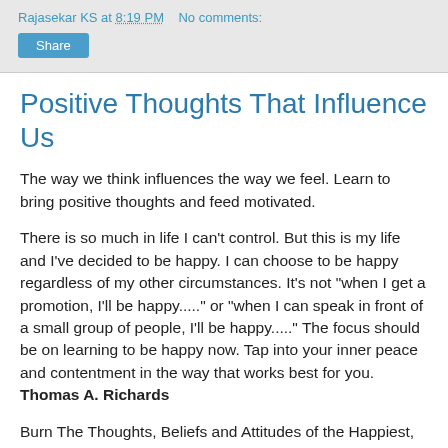Rajasekar KS at 8:19 PM   No comments:
Positive Thoughts That Influence Us
The way we think influences the way we feel. Learn to bring positive thoughts and feed motivated.
There is so much in life I can't control. But this is my life and I've decided to be happy. I can choose to be happy regardless of my other circumstances. It's not "when I get a promotion, I'll be happy....." or "when I can speak in front of a small group of people, I'll be happy....." The focus should be on learning to be happy now. Tap into your inner peace and contentment in the way that works best for you.
Thomas A. Richards
Burn The Thoughts, Beliefs and Attitudes of the Happiest, Most Effective People Into Your Mind and You Will Feel How They Feel, Do What They Do and Get The Same Results